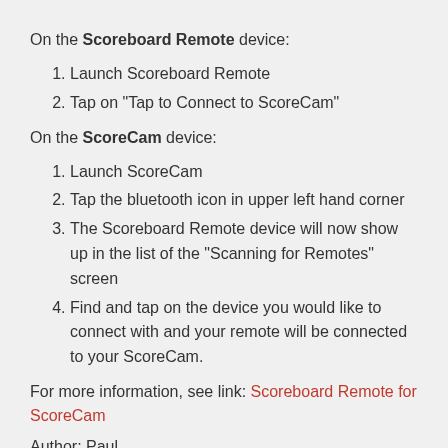On the Scoreboard Remote device:
1. Launch Scoreboard Remote
2. Tap on "Tap to Connect to ScoreCam"
On the ScoreCam device:
1. Launch ScoreCam
2. Tap the bluetooth icon in upper left hand corner
3. The Scoreboard Remote device will now show up in the list of the "Scanning for Remotes" screen
4. Find and tap on the device you would like to connect with and your remote will be connected to your ScoreCam.
For more information, see link: Scoreboard Remote for ScoreCam
Author: Paul
Last update: 2022-02-21 05:17